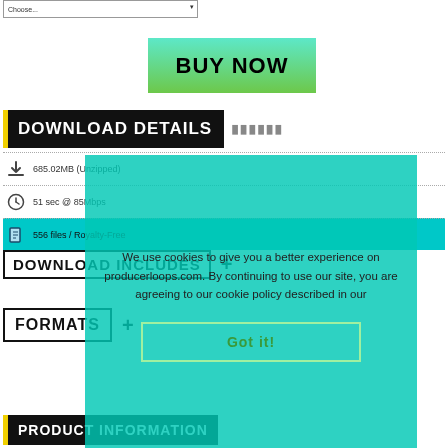Choose...
BUY NOW
DOWNLOAD DETAILS
685.02MB (Unzipped)
51 sec @ 85Mbps
556 files / Royalty-Free
DOWNLOAD INCLUDES
FORMATS
We use cookies to give you a better experience on producerloops.com. By continuing to use our site, you are agreeing to our cookie policy described in our Got it!
PRODUCT INFORMATION